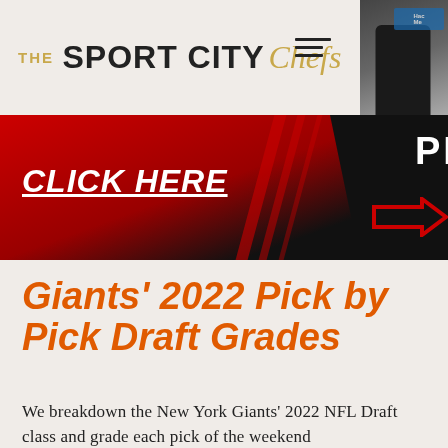THE SPORT CITY Chefs
[Figure (photo): Person in dark clothing in front of blue background with text]
[Figure (infographic): Promo banner with black and red diagonal design. Text: CLICK HERE, PROMO, 15%]
Giants' 2022 Pick by Pick Draft Grades
We breakdown the New York Giants' 2022 NFL Draft class and grade each pick of the weekend
153  0  1